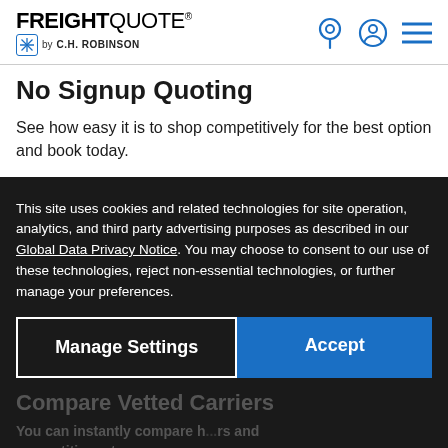FREIGHTQUOTE by C.H. ROBINSON
No Signup Quoting
See how easy it is to shop competitively for the best option and book today.
This site uses cookies and related technologies for site operation, analytics, and third party advertising purposes as described in our Global Data Privacy Notice. You may choose to consent to our use of these technologies, reject non-essential technologies, or further manage your preferences.
Compare Vetted Carriers
You can instantly compare h... rs and competitive rates.